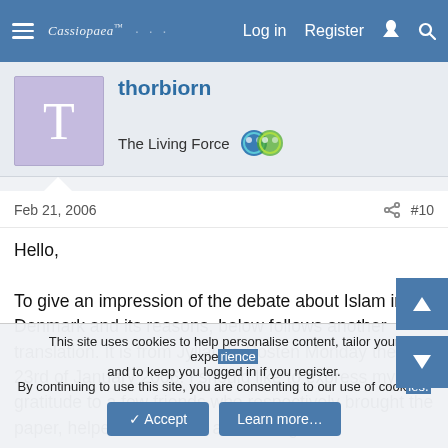Cassiopaea  Log in  Register  #  Search
thorbiorn
The Living Force
Feb 21, 2006  #10
Hello,

To give an impression of the debate about Islam in Denmark and its reasons, below follows another translation. It is from Jyllands-Posten Monday the 23rd of January 2006. I should like to express my gratitude to a few friends who respectively brought the paper, helped with words and editing.
This site uses cookies to help personalise content, tailor your experience and to keep you logged in if you register.
By continuing to use this site, you are consenting to our use of cookies.
✓ Accept  Learn more...